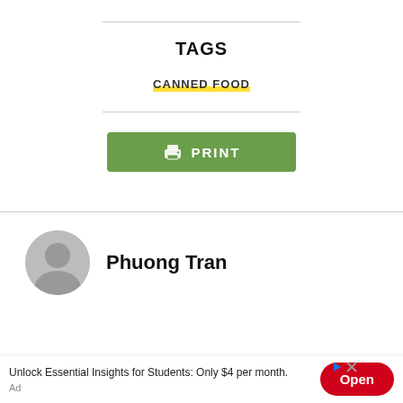TAGS
CANNED FOOD
[Figure (other): Green PRINT button with printer icon]
Phuong Tran
[Figure (other): Advertisement banner: Unlock Essential Insights for Students: Only $4 per month. Open button. Ad label.]